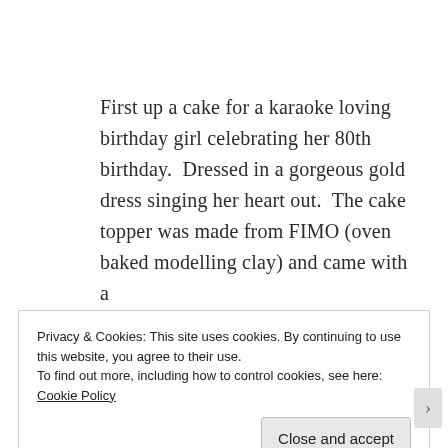First up a cake for a karaoke loving birthday girl celebrating her 80th birthday.  Dressed in a gorgeous gold dress singing her heart out.  The cake topper was made from FIMO (oven baked modelling clay) and came with a
Privacy & Cookies: This site uses cookies. By continuing to use this website, you agree to their use.
To find out more, including how to control cookies, see here: Cookie Policy
Close and accept